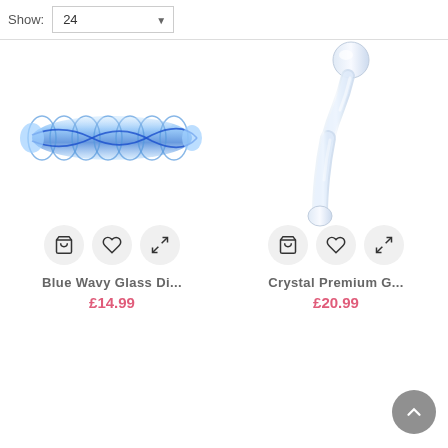Show: 24
[Figure (photo): Blue wavy ribbed glass dildo with iridescent blue swirl pattern, elongated shape]
Blue Wavy Glass Di...
£14.99
[Figure (photo): Clear/white crystal premium glass wand with rounded ball head, curved slim handle]
Crystal Premium G...
£20.99